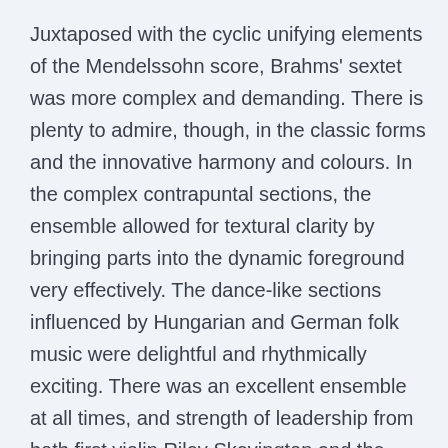Juxtaposed with the cyclic unifying elements of the Mendelssohn score, Brahms' sextet was more complex and demanding. There is plenty to admire, though, in the classic forms and the innovative harmony and colours. In the complex contrapuntal sections, the ensemble allowed for textural clarity by bringing parts into the dynamic foreground very effectively. The dance-like sections influenced by Hungarian and German folk music were delightful and rhythmically exciting. There was an excellent ensemble at all times, and strength of leadership from both first violin Riley Skevington and the assured masterly cello of Howard Penny.
Dr. Robin Wilson not only played second violin and